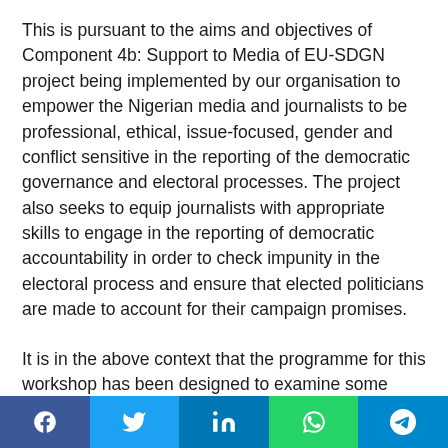This is pursuant to the aims and objectives of Component 4b: Support to Media of EU-SDGN project being implemented by our organisation to empower the Nigerian media and journalists to be professional, ethical, issue-focused, gender and conflict sensitive in the reporting of the democratic governance and electoral processes. The project also seeks to equip journalists with appropriate skills to engage in the reporting of democratic accountability in order to check impunity in the electoral process and ensure that elected politicians are made to account for their campaign promises.
It is in the above context that the programme for this workshop has been designed to examine some dimensions to the issues at stake including the role of the media in ensuring good governance, the understanding of the
Social share bar: Facebook, Twitter, LinkedIn, WhatsApp, Telegram